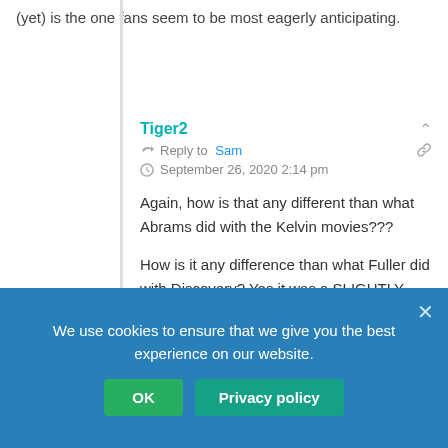(yet) is the one fans seem to be most eagerly anticipating.
Tiger2
Reply to Sam
September 26, 2020 2:14 pm
Again, how is that any different than what Abrams did with the Kelvin movies???
How is it any difference than what Fuller did with Discovery? Yes it was a SLIGHTLY different approach but end of the day its a bunch of Starfleet people on a starship. And what Kurtzman is doing with practically every new show now? Dude, he's making six shows that we know of, and at least five out of the six are people on starships: Discovery, Lower
The only one that we don't know that actually take place on a shi... occasionally since Discovery introduced the idea that Section 31 literally
We use cookies to ensure that we give you the best experience on our website.
OK
Privacy policy